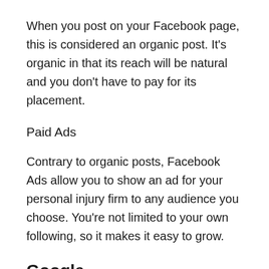When you post on your Facebook page, this is considered an organic post. It's organic in that its reach will be natural and you don't have to pay for its placement.
Paid Ads
Contrary to organic posts, Facebook Ads allow you to show an ad for your personal injury firm to any audience you choose. You're not limited to your own following, so it makes it easy to grow.
Google
Google is another destination for personal injury lawyers to market their business. Unlike Facebook, Google is the place where intent happens. On